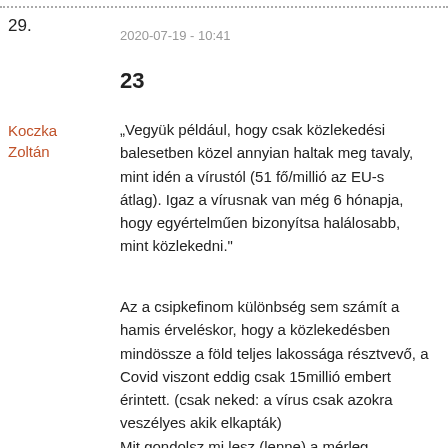29.
2020-07-19 - 10:41
23
Koczka Zoltán
„Vegyük például, hogy csak közlekedési balesetben közel annyian haltak meg tavaly, mint idén a vírustól (51 fő/millió az EU-s átlag). Igaz a vírusnak van még 6 hónapja, hogy egyértelműen bizonyítsa halálosabb, mint közlekedni.”
Az a csipkefinom különbség sem számít a hamis érveléskor, hogy a közlekedésben mindössze a föld teljes lakossága résztvevő, a Covid viszont eddig csak 15millió embert érintett. (csak neked: a vírus csak azokra veszélyes akik elkapták)
Mit gondolsz mi lesz (lenne) a mérleg